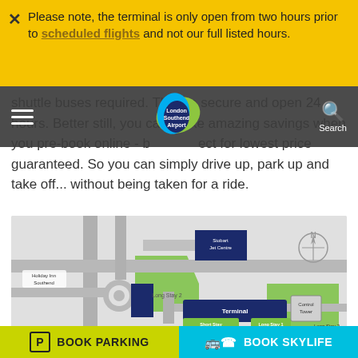Please note, the terminal is only open from two hours prior to scheduled flights and not our full listed hours.
shuttle buses required. They're secure and open 24 hours. Better still, you can make amazing savings when you pre-book online - best for lowest price guaranteed. So you can simply drive up, park up and take off... without being taken for a ride.
[Figure (map): Airport map of London Southend Airport showing Terminal, Short Stay Car Park, Long Stay 1, Long Stay 2, Control Tower, Holiday Inn Southend, and Stobart Jet Centre with road layout and compass rose.]
BOOK PARKING
BOOK SKYLIFE